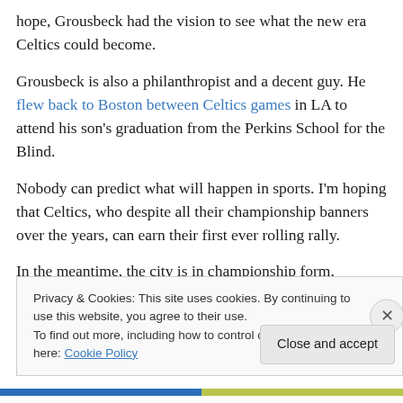hope, Grousbeck had the vision to see what the new era Celtics could become.
Grousbeck is also a philanthropist and a decent guy. He flew back to Boston between Celtics games in LA to attend his son's graduation from the Perkins School for the Blind.
Nobody can predict what will happen in sports. I’m hoping that Celtics, who despite all their championship banners over the years, can earn their first ever rolling rally.
In the meantime, the city is in championship form.
Privacy & Cookies: This site uses cookies. By continuing to use this website, you agree to their use.
To find out more, including how to control cookies, see here: Cookie Policy
Close and accept